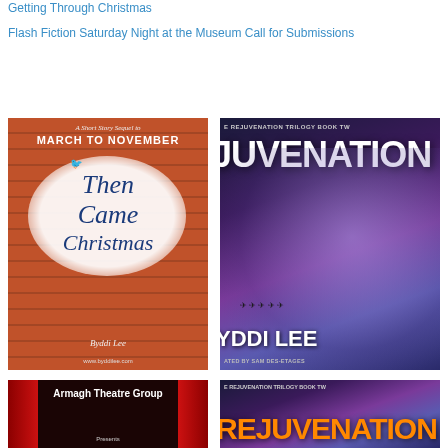Getting Through Christmas
Flash Fiction Saturday Night at the Museum Call for Submissions
[Figure (illustration): Book cover: 'Then Came Christmas' by Byddi Lee. A short story sequel to March to November. Shows a brick wall background with a white splash/cloud area, a crow/bird, and the title in blue italic script. URL www.byddilee.com at bottom.]
[Figure (illustration): Book cover: Rejuvenation Trilogy Book Two. Shows 'REJUVENATION' text over a dramatic stormy purple sky with lightning and birds in silhouette. Author BYDDI LEE. Translated by Sam Des-Etages.]
[Figure (illustration): Book cover bottom portion: Armagh Theatre Group, red curtains visible with white text.]
[Figure (illustration): Book cover bottom portion: Rejuvenation Trilogy Book Two, orange/gold title text on dark purple stormy background.]